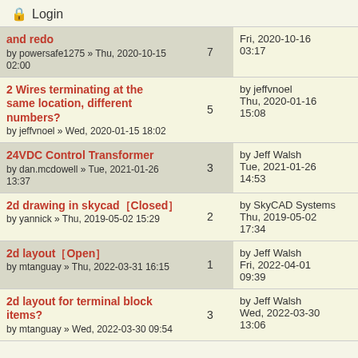🔒 Login
| Topic | Replies | Last Post |
| --- | --- | --- |
| and redo
by powersafe1275 » Thu, 2020-10-15 02:00 | 7 | Fri, 2020-10-16 03:17 |
| 2 Wires terminating at the same location, different numbers?
by jeffvnoel » Wed, 2020-01-15 18:02 | 5 | by jeffvnoel
Thu, 2020-01-16 15:08 |
| 24VDC Control Transformer
by dan.mcdowell » Tue, 2021-01-26 13:37 | 3 | by Jeff Walsh
Tue, 2021-01-26 14:53 |
| 2d drawing in skycad [ Closed ]
by yannick » Thu, 2019-05-02 15:29 | 2 | by SkyCAD Systems
Thu, 2019-05-02 17:34 |
| 2d layout [ Open ]
by mtanguay » Thu, 2022-03-31 16:15 | 1 | by Jeff Walsh
Fri, 2022-04-01 09:39 |
| 2d layout for terminal block items?
by mtanguay » Wed, 2022-03-30 09:54 | 3 | by Jeff Walsh
Wed, 2022-03-30 13:06 |